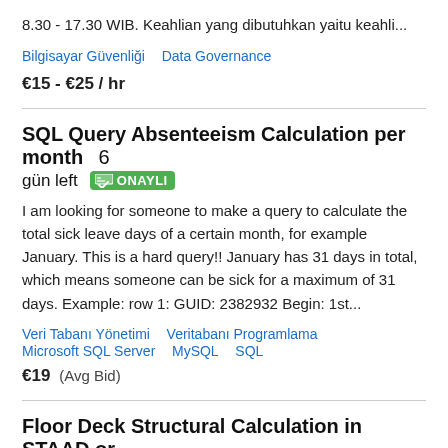8.30 - 17.30 WIB. Keahlian yang dibutuhkan yaitu keahli...
Bilgisayar Güvenliği   Data Governance
€15 - €25 / hr
SQL Query Absenteeism Calculation per month  6 gün left  ONAYLI
I am looking for someone to make a query to calculate the total sick leave days of a certain month, for example January. This is a hard query!! January has 31 days in total, which means someone can be sick for a maximum of 31 days. Example: row 1: GUID: 2382932 Begin: 1st...
Veri Tabanı Yönetimi   Veritabanı Programlama   Microsoft SQL Server   MySQL   SQL
€19  (Avg Bid)
Floor Deck Structural Calculation in STAAD or